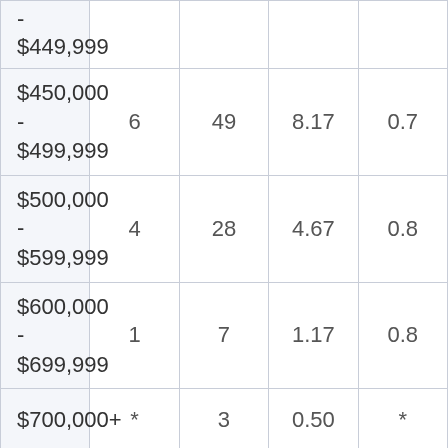| Price Range | Column2 | Column3 | Column4 | Column5 |
| --- | --- | --- | --- | --- |
| - $449,999 |  |  |  |  |
| $450,000 - $499,999 | 6 | 49 | 8.17 | 0.7 |
| $500,000 - $599,999 | 4 | 28 | 4.67 | 0.8 |
| $600,000 - $699,999 | 1 | 7 | 1.17 | 0.8 |
| $700,000+ | * | 3 | 0.50 | * |